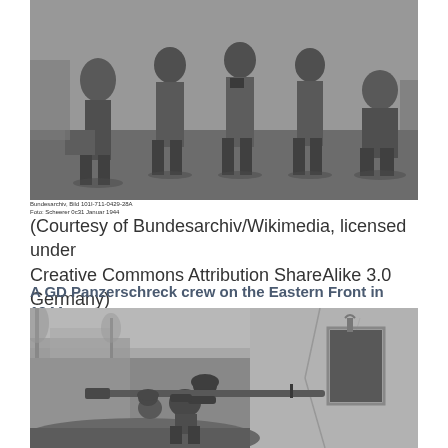[Figure (photo): Black and white historical photograph showing German soldiers standing in a field, some carrying equipment. Archive photo from Bundesarchiv.]
Bundesarchiv, Bild 101I-711-0429-28A
Foto: Scheerer 0c31 Januar 1944
(Courtesy of Bundesarchiv/Wikimedia, licensed under Creative Commons Attribution ShareAlike 3.0 Germany)
A GD Panzerschreck crew on the Eastern Front in 1944
[Figure (photo): Black and white historical photograph showing a German GD Panzerschreck crew in action on the Eastern Front in 1944, soldier aiming a Panzerschreck rocket launcher through a damaged wall.]